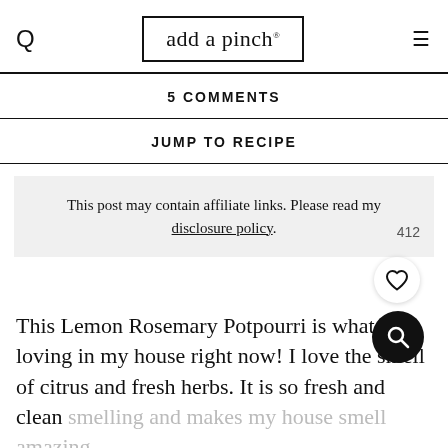add a pinch.
5 COMMENTS
JUMP TO RECIPE
This post may contain affiliate links. Please read my disclosure policy.
This Lemon Rosemary Potpourri is what I’m loving in my house right now! I love the smell of citrus and fresh herbs. It is so fresh and clean smelling and makes my house smell amazing. They are so perfect together!